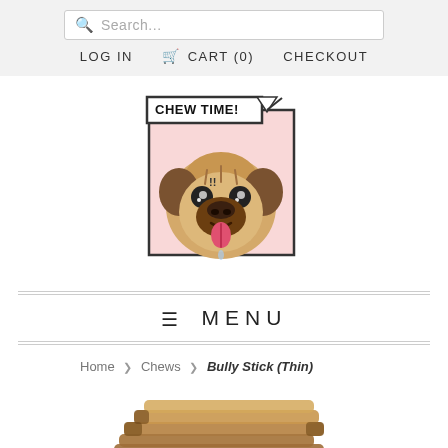Search... | LOG IN | CART (0) | CHECKOUT
[Figure (logo): Chew Time! logo featuring a cartoon pug dog with a speech bubble saying 'CHEW TIME!']
≡ MENU
Home › Chews › Bully Stick (Thin)
[Figure (photo): Product photo of bully sticks (thin) dog chews stacked together, partially visible at bottom of page]